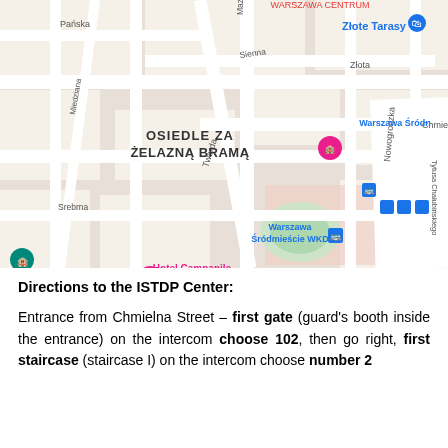[Figure (map): Google Maps screenshot showing Warsaw city center area with streets including Chmielna, Nowogrodzka, Twarda, Srebrna, Sienna, Pańska, Złota, Miedziana. Labels include OSIEDLE ZA ŻELAZNĄ BRAMĄ, Złote Tarasy, Warszawa Śródmieście, Warszawa Śródmieście WKD, Hotel Campanile Warszawa, Warszawa Ochota, Polsko-Japońska Akademia Technik, Sobieski. Various transit and hotel markers visible.]
Directions to the ISTDP Center:
Entrance from Chmielna Street – first gate (guard's booth inside the entrance) on the intercom choose 102, then go right, first staircase (staircase I) on the intercom choose number 2